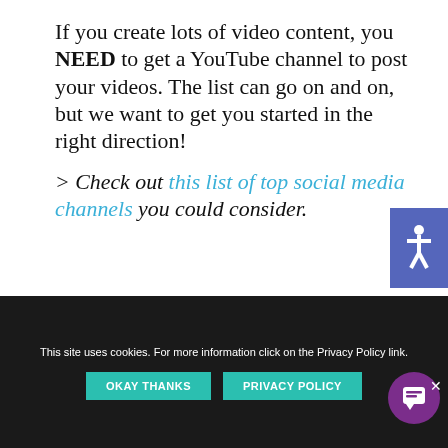If you create lots of video content, you NEED to get a YouTube channel to post your videos. The list can go on and on, but we want to get you started in the right direction!
> Check out this list of top social media channels you could consider.
Looking for a Social Media Partner?
The Social Ginger is ready to help your business with your social media needs.
This site uses cookies. For more information click on the Privacy Policy link.